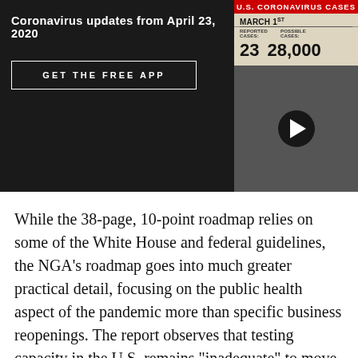Coronavirus updates from April 23, 2020
GET THE FREE APP
[Figure (screenshot): U.S. Coronavirus Cases thumbnail showing March 1st data: Reported Cases 23, Possible Cases 28,000 with a video play button overlay]
While the 38-page, 10-point roadmap relies on some of the White House and federal guidelines, the NGA's roadmap goes into much greater practical detail, focusing on the public health aspect of the pandemic more than specific business reopenings. The report observes that testing capacity in the U.S. remains "inadequate" to move forward, despite repeated assurances from the White House that the U.S. has enough testing for states that meet other criteria to begin to reopen.
The NGA is led by Maryland Governor Larry Hogan,